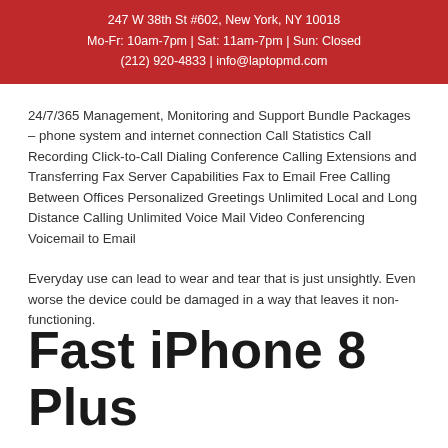247 W 38th St #602, New York, NY 10018 Mo-Fr: 10am-7pm | Sat: 11am-7pm | Sun: Closed (212) 920-4833 | info@laptopmd.com
24/7/365 Management, Monitoring and Support Bundle Packages – phone system and internet connection Call Statistics Call Recording Click-to-Call Dialing Conference Calling Extensions and Transferring Fax Server Capabilities Fax to Email Free Calling Between Offices Personalized Greetings Unlimited Local and Long Distance Calling Unlimited Voice Mail Video Conferencing Voicemail to Email
Everyday use can lead to wear and tear that is just unsightly. Even worse the device could be damaged in a way that leaves it non-functioning.
Fast iPhone 8 Plus